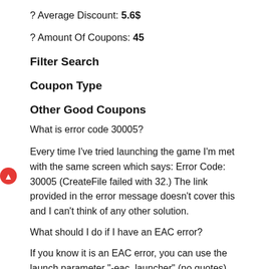? Average Discount: 5.6$
? Amount Of Coupons: 45
Filter Search
Coupon Type
Other Good Coupons
What is error code 30005?
Every time I've tried launching the game I'm met with the same screen which says: Error Code: 30005 (CreateFile failed with 32.) The link provided in the error message doesn't cover this and I can't think of any other solution.
What should I do if I have an EAC error?
If you know it is an EAC error, you can use the launch parameter "-eac_launcher" (no quotes) and it will run the